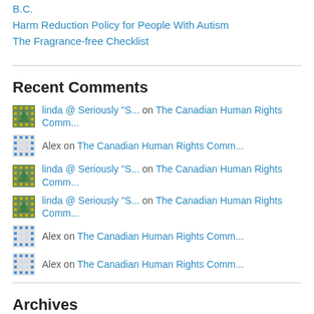B.C.
Harm Reduction Policy for People With Autism
The Fragrance-free Checklist
Recent Comments
linda @ Seriously "S... on The Canadian Human Rights Comm...
Alex on The Canadian Human Rights Comm...
linda @ Seriously "S... on The Canadian Human Rights Comm...
linda @ Seriously "S... on The Canadian Human Rights Comm...
Alex on The Canadian Human Rights Comm...
Alex on The Canadian Human Rights Comm...
Archives
Select Month